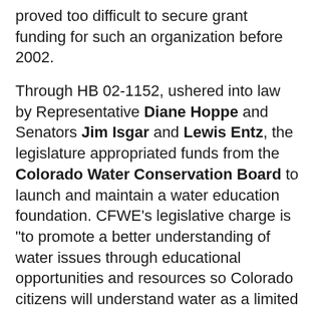proved too difficult to secure grant funding for such an organization before 2002.
Through HB 02-1152, ushered into law by Representative Diane Hoppe and Senators Jim Isgar and Lewis Entz, the legislature appropriated funds from the Colorado Water Conservation Board to launch and maintain a water education foundation. CFWE’s legislative charge is “to promote a better understanding of water issues through educational opportunities and resources so Colorado citizens will understand water as a limited resource and will make informed water decisions.”
That legislative move and financial support from